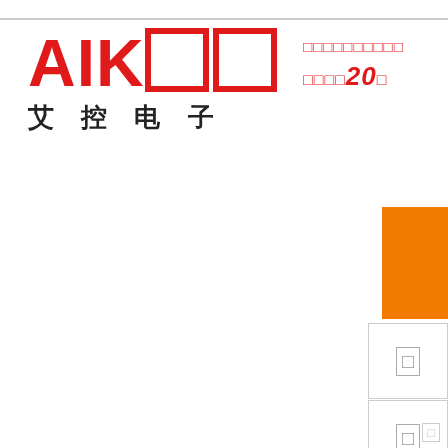[Figure (logo): AIKOO logo with red bold text 'AIKOO' and a red square/box character, below it Chinese characters '艾控电子' (Aikoo Electronics), to the right are red Chinese tagline text with '20' in bold italic red]
[Figure (illustration): Orange filled rectangle block on the right side of the page, followed by two white boxes with bordered characters/icons below it, and a smaller icon at the bottom right]